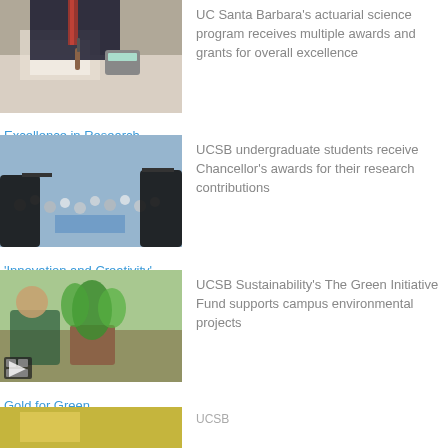[Figure (photo): Person in suit writing at a desk with papers and a calculator]
UC Santa Barbara's actuarial science program receives multiple awards and grants for overall excellence
Excellence in Research
[Figure (photo): Crowd of students at a graduation ceremony, silhouettes in foreground]
UCSB undergraduate students receive Chancellor's awards for their research contributions
'Innovation and Creativity'
[Figure (photo): Person tending to a plant with a video play icon overlay]
UCSB Sustainability's The Green Initiative Fund supports campus environmental projects
Gold for Green
[Figure (photo): Partial view of another story image at bottom]